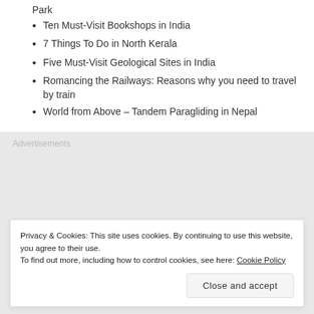Stay at Banjaar Tola – A Taj Safari Lodge at Kanha National Park
Ten Must-Visit Bookshops in India
7 Things To Do in North Kerala
Five Must-Visit Geological Sites in India
Romancing the Railways: Reasons why you need to travel by train
World from Above – Tandem Paragliding in Nepal
Advertisements
Privacy & Cookies: This site uses cookies. By continuing to use this website, you agree to their use.
To find out more, including how to control cookies, see here: Cookie Policy
Close and accept